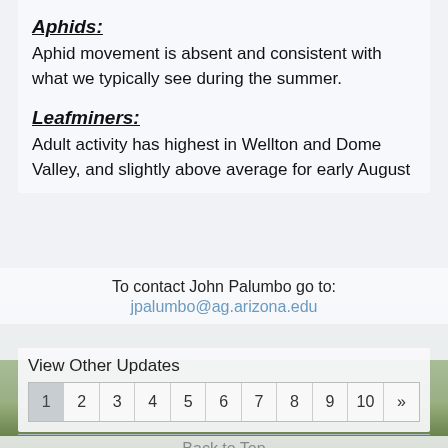Aphids:
Aphid movement is absent and consistent with what we typically see during the summer.
Leafminers:
Adult activity has highest in Wellton and Dome Valley, and slightly above average for early August
To contact John Palumbo go to: jpalumbo@ag.arizona.edu
View Other Updates
1 2 3 4 5 6 7 8 9 10 »
Back to Top